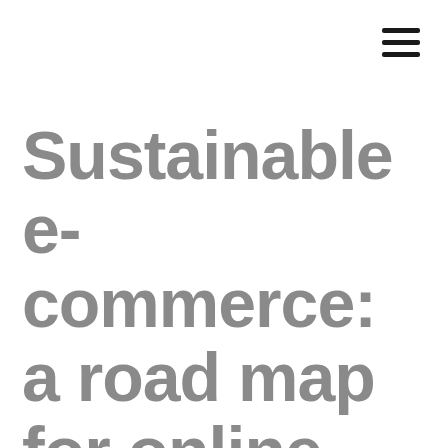[Figure (other): Hamburger menu icon — three horizontal black lines in top-right corner]
Sustainable e-commerce: a road map for online shopping platforms and climate-neutral packaging